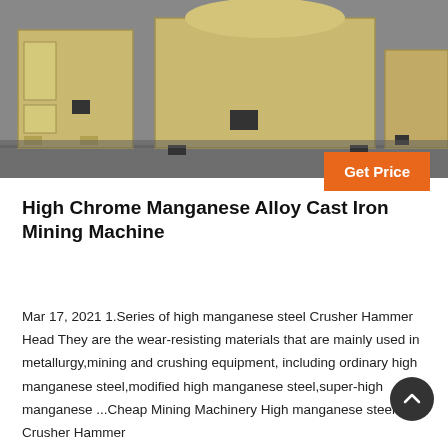[Figure (photo): Industrial mining machines (crushers) in cream/yellow color on a dark grey floor, photographed in a warehouse or factory setting.]
High Chrome Manganese Alloy Cast Iron Mining Machine
Mar 17, 2021 1.Series of high manganese steel Crusher Hammer Head They are the wear-resisting materials that are mainly used in metallurgy,mining and crushing equipment, including ordinary high manganese steel,modified high manganese steel,super-high manganese ...Cheap Mining Machinery High manganese steel Crusher Hammer